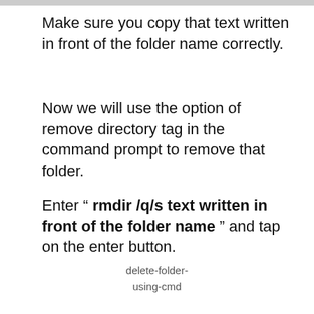Make sure you copy that text written in front of the folder name correctly.
Now we will use the option of remove directory tag in the command prompt to remove that folder.
Enter “ rmdir /q/s text written in front of the folder name ” and tap on the enter button.
delete-folder-using-cmd